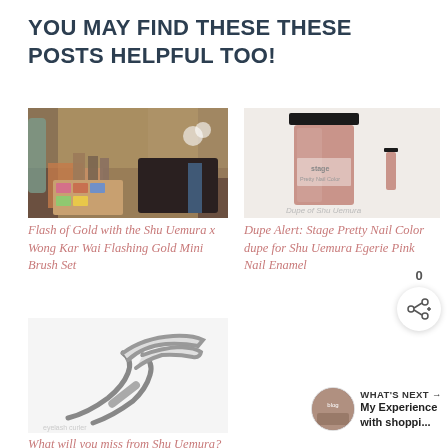YOU MAY FIND THESE THESE POSTS HELPFUL TOO!
[Figure (photo): Makeup products and brushes spread on a surface - Shu Uemura x Wong Kar Wai Flashing Gold Mini Brush Set]
Flash of Gold with the Shu Uemura x Wong Kar Wai Flashing Gold Mini Brush Set
[Figure (photo): Stage nail polish bottle (pink/mauve color) next to a smaller bottle - dupe for Shu Uemura Egerie Pink Nail Enamel]
Dupe Alert: Stage Pretty Nail Color dupe for Shu Uemura Egerie Pink Nail Enamel
[Figure (photo): Eyelash curler metal tool on white background]
What will you miss from Shu Uemura?
0
WHAT'S NEXT → My Experience with shoppi...